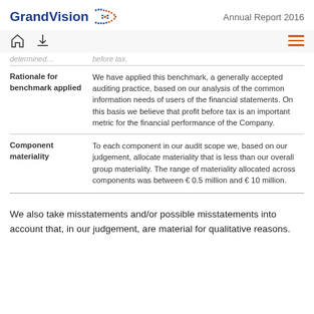GrandVision Annual Report 2016
| Rationale for benchmark applied | We have applied this benchmark, a generally accepted auditing practice, based on our analysis of the common information needs of users of the financial statements. On this basis we believe that profit before tax is an important metric for the financial performance of the Company. |
| Component materiality | To each component in our audit scope we, based on our judgement, allocate materiality that is less than our overall group materiality. The range of materiality allocated across components was between € 0.5 million and € 10 million. |
We also take misstatements and/or possible misstatements into account that, in our judgement, are material for qualitative reasons.